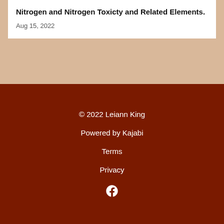Nitrogen and Nitrogen Toxicty and Related Elements.
Aug 15, 2022
© 2022 Leiann King
Powered by Kajabi
Terms
Privacy